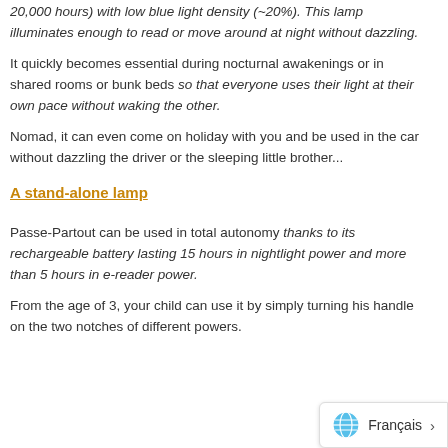20,000 hours) with low blue light density (~20%). This lamp illuminates enough to read or move around at night without dazzling.
It quickly becomes essential during nocturnal awakenings or in shared rooms or bunk beds so that everyone uses their light at their own pace without waking the other.
Nomad, it can even come on holiday with you and be used in the car without dazzling the driver or the sleeping little brother...
A stand-alone lamp
Passe-Partout can be used in total autonomy thanks to its rechargeable battery lasting 15 hours in nightlight power and more than 5 hours in e-reader power.
From the age of 3, your child can use it by simply turning his handle on the two notches of different powers.